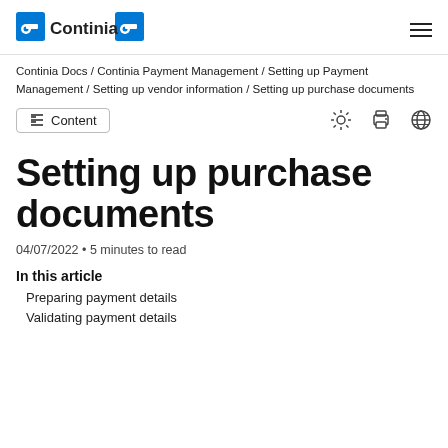Continia (logo) / hamburger menu
Continia Docs / Continia Payment Management / Setting up Payment Management / Setting up vendor information / Setting up purchase documents
Content (toolbar with icons)
Setting up purchase documents
04/07/2022 • 5 minutes to read
In this article
Preparing payment details
Validating payment details